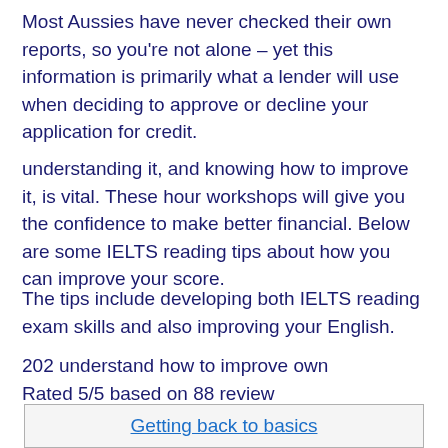Most Aussies have never checked their own reports, so you're not alone – yet this information is primarily what a lender will use when deciding to approve or decline your application for credit.
understanding it, and knowing how to improve it, is vital. These hour workshops will give you the confidence to make better financial. Below are some IELTS reading tips about how you can improve your score.
The tips include developing both IELTS reading exam skills and also improving your English.
202 understand how to improve own
Rated 5/5 based on 88 review
Getting back to basics